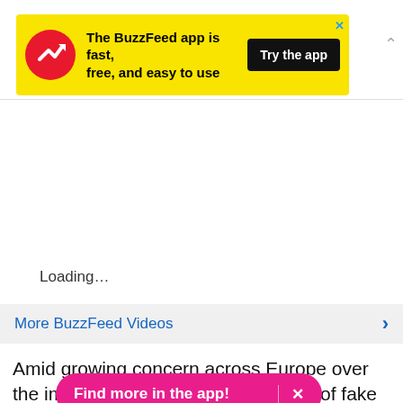[Figure (screenshot): BuzzFeed app promotional ad banner with yellow background, red circular logo with white arrow, bold text 'The BuzzFeed app is fast, free, and easy to use', and black 'Try the app' button]
Loading...
More BuzzFeed Videos
Amid growing concern across Europe over the impact on democratic processes of fake news and Russian interference, Italy is shaping up to be the continent's n...ks to the sophistication and wide reach of the Five Star